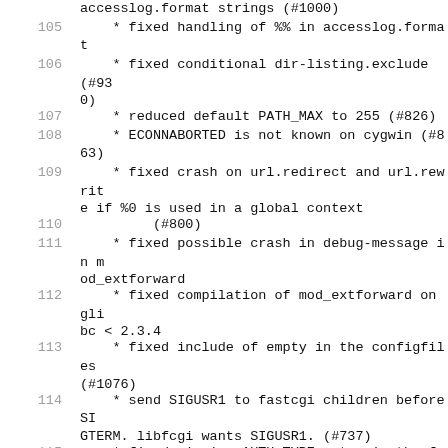accesslog.format strings (#1000)
105  * fixed handling of %% in accesslog.format
106  * fixed conditional dir-listing.exclude (#930)
107  * reduced default PATH_MAX to 255 (#826)
108  * ECONNABORTED is not known on cygwin (#863)
109  * fixed crash on url.redirect and url.rewrite if %0 is used in a global context (#800)
110     (#800)
111  * fixed possible crash in debug-message in mod_extforward
112  * fixed compilation of mod_extforward on glibc < 2.3.4
113  * fixed include of empty in the configfiles (#1076)
114  * send SIGUSR1 to fastcgi children before SIGTERM. libfcgi wants SIGUSR1. (#737)
115  * fixed missing AUTH_TYPE entry in the fastcgi environment. (#889)
116  * fixed compilation in network_writev.c on MacOS X 10.3.9 (#903)
117  * added kill-signal as another setting for fastcgi backends. See the wiki for more.